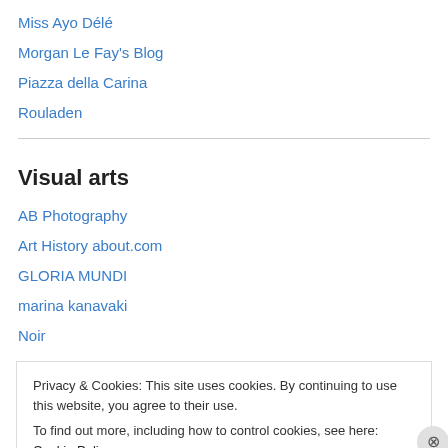Miss Ayo Délé
Morgan Le Fay's Blog
Piazza della Carina
Rouladen
Visual arts
AB Photography
Art History about.com
GLORIA MUNDI
marina kanavaki
Noir
Privacy & Cookies: This site uses cookies. By continuing to use this website, you agree to their use.
To find out more, including how to control cookies, see here: Cookie Policy
Close and accept